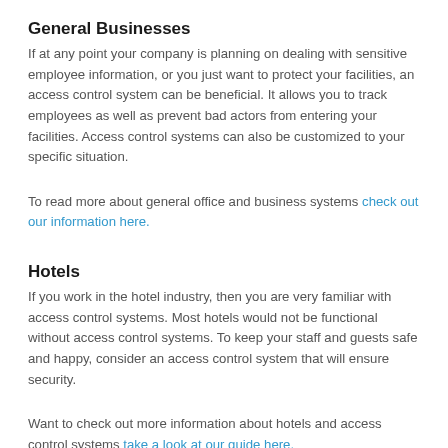General Businesses
If at any point your company is planning on dealing with sensitive employee information, or you just want to protect your facilities, an access control system can be beneficial. It allows you to track employees as well as prevent bad actors from entering your facilities. Access control systems can also be customized to your specific situation.
To read more about general office and business systems check out our information here.
Hotels
If you work in the hotel industry, then you are very familiar with access control systems. Most hotels would not be functional without access control systems. To keep your staff and guests safe and happy, consider an access control system that will ensure security.
Want to check out more information about hotels and access control systems take a look at our guide here.